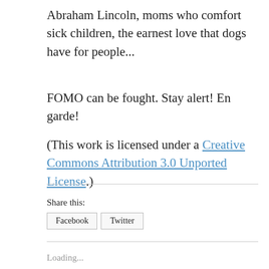Abraham Lincoln, moms who comfort sick children, the earnest love that dogs have for people...
FOMO can be fought. Stay alert! En garde!
(This work is licensed under a Creative Commons Attribution 3.0 Unported License.)
Share this:
Facebook   Twitter
Loading...